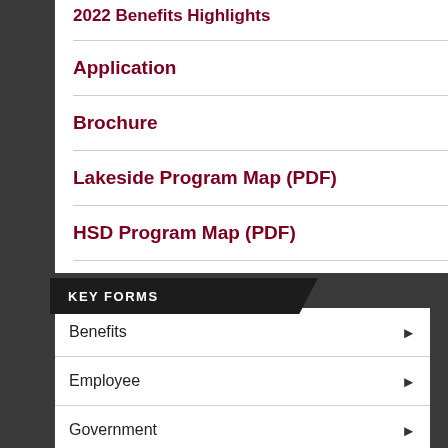2022 Benefits Highlights
Application
Brochure
Lakeside Program Map (PDF)
HSD Program Map (PDF)
KEY FORMS
Benefits
Employee
Government
Hiring - New Employee
Personnel Action